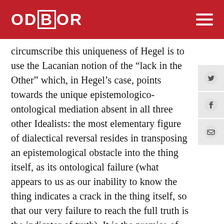ODBOR
circumscribe this uniqueness of Hegel is to use the Lacanian notion of the “lack in the Other” which, in Hegel’s case, points towards the unique epistemologico-ontological mediation absent in all three other Idealists: the most elementary figure of dialectical reversal resides in transposing an epistemological obstacle into the thing itself, as its ontological failure (what appears to us as our inability to know the thing indicates a crack in the thing itself, so that our very failure to reach the full truth is the indicator of truth). It is the premise of the present book that this “fundamental insight” of Hegel has lost none of its power